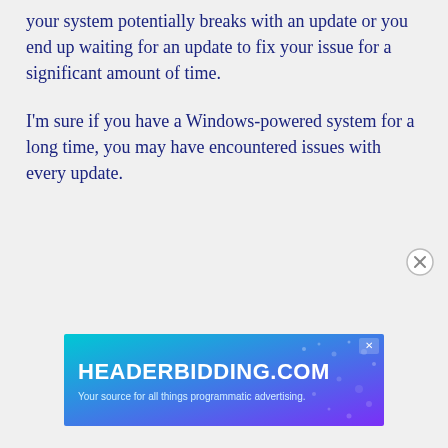your system potentially breaks with an update or you end up waiting for an update to fix your issue for a significant amount of time.
I'm sure if you have a Windows-powered system for a long time, you may have encountered issues with every update.
[Figure (other): Advertisement banner for HEADERBIDDING.COM with tagline 'Your source for all things programmatic advertising.' styled with teal to purple gradient background and decorative dot pattern.]